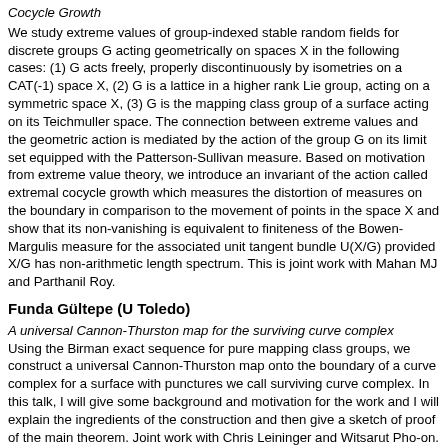Cocycle Growth
We study extreme values of group-indexed stable random fields for discrete groups G acting geometrically on spaces X in the following cases: (1) G acts freely, properly discontinuously by isometries on a CAT(-1) space X, (2) G is a lattice in a higher rank Lie group, acting on a symmetric space X, (3) G is the mapping class group of a surface acting on its Teichmuller space. The connection between extreme values and the geometric action is mediated by the action of the group G on its limit set equipped with the Patterson-Sullivan measure. Based on motivation from extreme value theory, we introduce an invariant of the action called extremal cocycle growth which measures the distortion of measures on the boundary in comparison to the movement of points in the space X and show that its non-vanishing is equivalent to finiteness of the Bowen-Margulis measure for the associated unit tangent bundle U(X/G) provided X/G has non-arithmetic length spectrum. This is joint work with Mahan MJ and Parthanil Roy.
Funda Gültepe (U Toledo)
A universal Cannon-Thurston map for the surviving curve complex
Using the Birman exact sequence for pure mapping class groups, we construct a universal Cannon-Thurston map onto the boundary of a curve complex for a surface with punctures we call surviving curve complex. In this talk, I will give some background and motivation for the work and I will explain the ingredients of the construction and then give a sketch of proof of the main theorem. Joint work with Chris Leininger and Witsarut Pho-on.